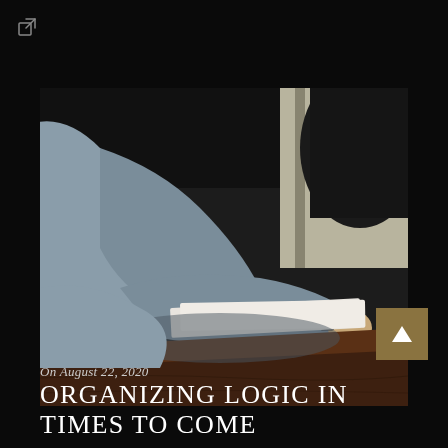[Figure (photo): Two people at a wooden table, one in a grey sweater with a watch, appearing to be in a business meeting with papers on the table]
On August 22, 2020
Organizing logic in times to come